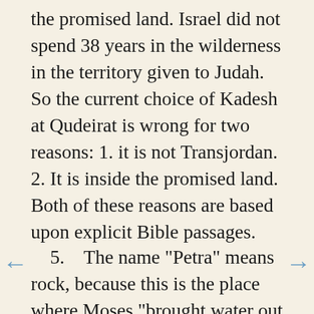the promised land. Israel did not spend 38 years in the wilderness in the territory given to Judah. So the current choice of Kadesh at Qudeirat is wrong for two reasons: 1. it is not Transjordan. 2. It is inside the promised land. Both of these reasons are based upon explicit Bible passages.
5.   The name "Petra" means rock, because this is the place where Moses "brought water out of the rock". The Bible refers to Petra